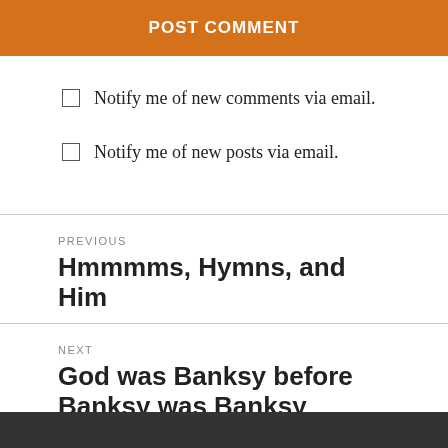POST COMMENT
Notify me of new comments via email.
Notify me of new posts via email.
PREVIOUS
Hmmmms, Hymns, and Him
NEXT
God was Banksy before Banksy was Banksy